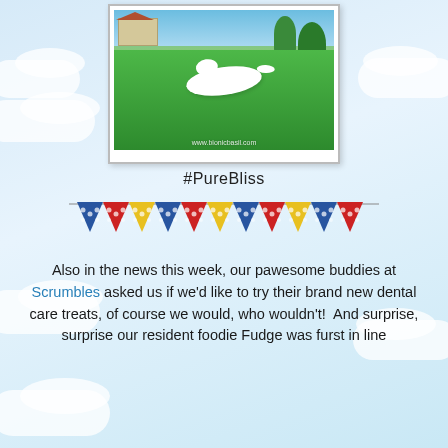[Figure (photo): A white cat or dog lying on a green lawn in a garden, with a house and trees in the background, watermark www.bionicbasil.com]
#PureBliss
[Figure (illustration): Colorful party bunting/banner with triangular flags in blue, red, and yellow with decorative patterns]
Also in the news this week, our pawesome buddies at Scrumbles asked us if we'd like to try their brand new dental care treats, of course we would, who wouldn't!  And surprise, surprise our resident foodie Fudge was furst in line